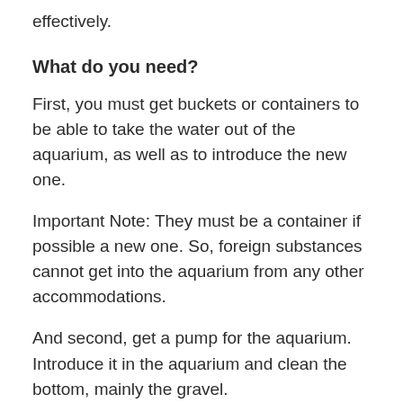effectively.
What do you need?
First, you must get buckets or containers to be able to take the water out of the aquarium, as well as to introduce the new one.
Important Note: They must be a container if possible a new one. So, foreign substances cannot get into the aquarium from any other accommodations.
And second, get a pump for the aquarium. Introduce it in the aquarium and clean the bottom, mainly the gravel.